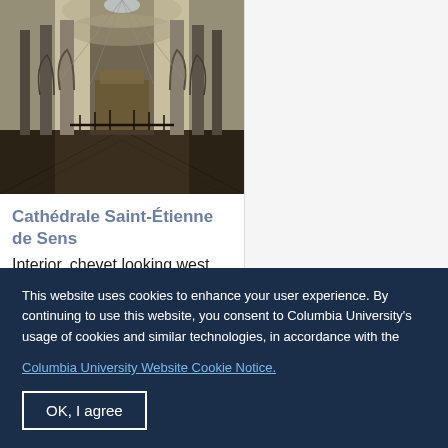[Figure (photo): Interior photograph of Cathédrale Saint-Étienne de Sens, showing the chevet looking west from the triforium level, with Gothic arches, columns, and ornate ceiling vaults]
Cathédrale Saint-Étienne de Sens
Interior, chevet looking west from triforium...
This website uses cookies to enhance your user experience. By continuing to use this website, you consent to Columbia University's usage of cookies and similar technologies, in accordance with the Columbia University Website Cookie Notice.
OK, I agree